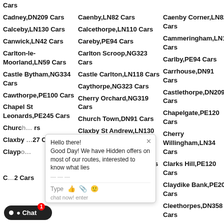Cars
Cadney,DN209 Cars
Caenby,LN82 Cars
Caenby Corner,LN82 Cars
Calceby,LN130 Cars
Calcethorpe,LN110 Cars
Cammeringham,LN12 Cars
Canwick,LN42 Cars
Careby,PE94 Cars
Carlby,PE94 Cars
Carlton-le-Moorland,LN59 Cars
Carlton Scroop,NG323 Cars
Carrhouse,DN91 Cars
Castle Bytham,NG334 Cars
Castle Carlton,LN118 Cars
Castlethorpe,DN209 Cars
Cawthorpe,PE100 Cars
Caythorpe,NG323 Cars
Chapelgate,PE120 Cars
Chapel St Leonards,PE245 Cars
Cherry Orchard,NG319 Cars
Cherry Willingham,LN34 Cars
Church Town,DN91 Cars
Clarks Hill,PE120 Cars
Claxby,LN83 Cars
Claxby St Andrew,LN130 Cars
Claydike Bank,PE203 Cars
Claythorpe,LN130 Cars
Cleethorpes,DN358 Cars
Cold Hanworth,LN23 Cars
Cold Harbour,NG317 Cars
Colsterworth,NG335